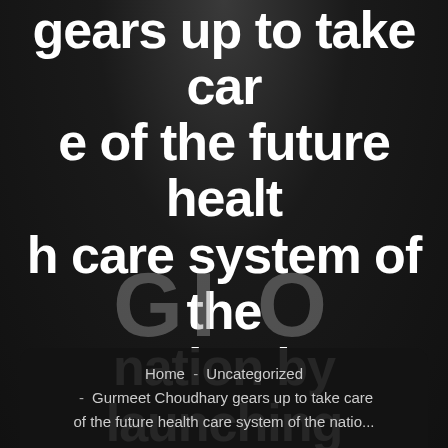gears up to take care of the future health care system of the nation by launching The Grand Hospital Project
Home  -  Uncategorized  -  Gurmeet Choudhary gears up to take care of the future health care system of the nation...